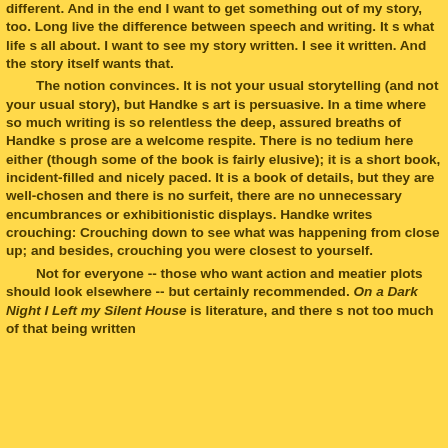different. And in the end I want to get something out of my story, too. Long live the difference between speech and writing. It s what life s all about. I want to see my story written. I see it written. And the story itself wants that.

The notion convinces. It is not your usual storytelling (and not your usual story), but Handke s art is persuasive. In a time where so much writing is so relentless the deep, assured breaths of Handke s prose are a welcome respite. There is no tedium here either (though some of the book is fairly elusive); it is a short book, incident-filled and nicely paced. It is a book of details, but they are well-chosen and there is no surfeit, there are no unnecessary encumbrances or exhibitionistic displays. Handke writes crouching: Crouching down to see what was happening from close up; and besides, crouching you were closest to yourself.

Not for everyone -- those who want action and meatier plots should look elsewhere -- but certainly recommended. On a Dark Night I Left my Silent House is literature, and there s not too much of that being written